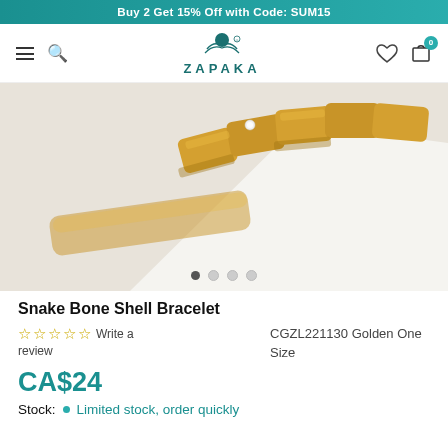Buy 2 Get 15% Off with Code: SUM15
[Figure (logo): ZAPAKA brand logo with woman silhouette and text]
[Figure (photo): Close-up photo of a gold snake bone shell bracelet with rhinestone detail on white background]
Snake Bone Shell Bracelet
☆☆☆☆☆ Write a review
CGZL221130 Golden One Size
CA$24
Stock:  Limited stock, order quickly